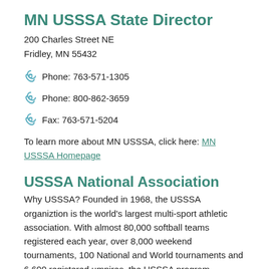MN USSSA State Director
200 Charles Street NE
Fridley, MN 55432
Phone: 763-571-1305
Phone: 800-862-3659
Fax: 763-571-5204
To learn more about MN USSSA, click here: MN USSSA Homepage
USSSA National Association
Why USSSA? Founded in 1968, the USSSA organiztion is the world's largest multi-sport athletic association. With almost 80,000 softball teams registered each year, over 8,000 weekend tournaments, 100 National and World tournaments and 6,600 registered umpires, the USSSA program provides quality and opportunity to our program.